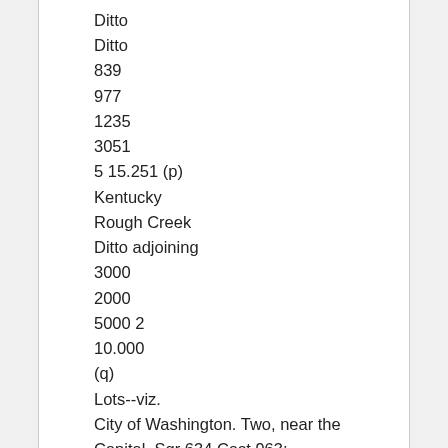Ditto
Ditto
839
977
1235
3051
5 15.251 (p)
Kentucky
Rough Creek
Ditto adjoining
3000
2000
5000 2
10.000
(q)
Lots--viz.
City of Washington. Two, near the
Capital. Sqr 634 Cost 963;